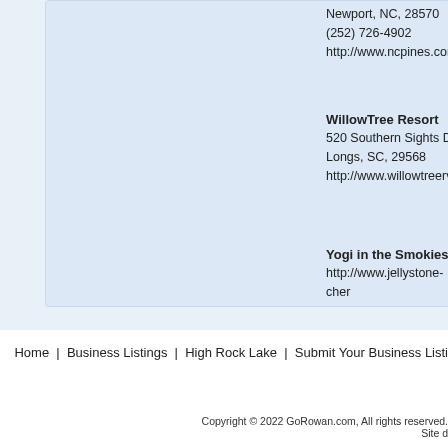Newport, NC, 28570
(252) 726-4902
http://www.ncpines.com/C
WillowTree Resort
520 Southern Sights Drive
Longs, SC, 29568
http://www.willowtreervr.co
Yogi in the Smokies
http://www.jellystone-cher
Home | Business Listings | High Rock Lake | Submit Your Business Listing
Copyright © 2022 GoRowan.com, All rights reserved.
Site d